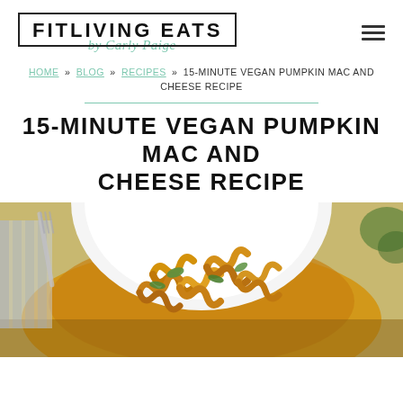FITLIVING EATS by Carly Paige
HOME » BLOG » RECIPES » 15-MINUTE VEGAN PUMPKIN MAC AND CHEESE RECIPE
15-MINUTE VEGAN PUMPKIN MAC AND CHEESE RECIPE
[Figure (photo): A white bowl filled with rotini pasta in a golden pumpkin-based sauce with green spinach leaves, photographed from above at a slight angle. A fork and striped napkin are visible in the background.]